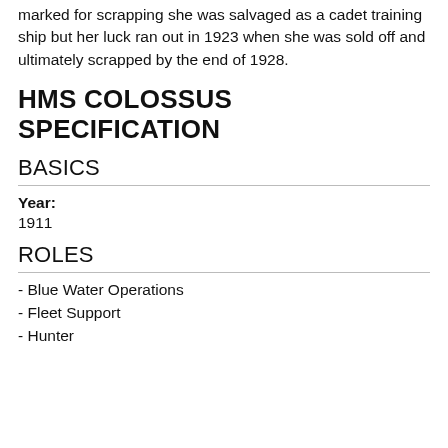marked for scrapping she was salvaged as a cadet training ship but her luck ran out in 1923 when she was sold off and ultimately scrapped by the end of 1928.
HMS COLOSSUS SPECIFICATION
BASICS
Year:
1911
ROLES
- Blue Water Operations
- Fleet Support
- Hunter